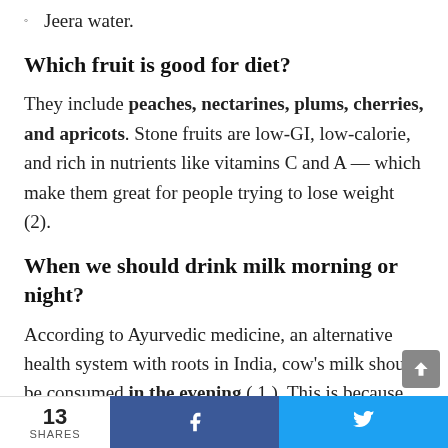Jeera water.
Which fruit is good for diet?
They include peaches, nectarines, plums, cherries, and apricots. Stone fruits are low-GI, low-calorie, and rich in nutrients like vitamins C and A — which make them great for people trying to lose weight (2).
When we should drink milk morning or night?
According to Ayurvedic medicine, an alternative health system with roots in India, cow's milk should be consumed in the evening ( 1 ). This is because the Ayurvedic school of thought considers milk to be sleep-inducing and heavy to digest, making it
13 SHARES